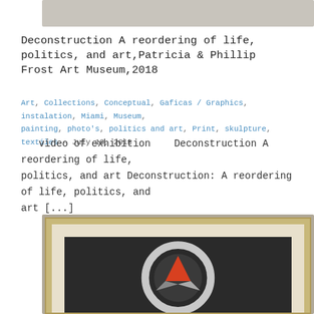[Figure (photo): Top portion of an exhibition photo, partially cropped, showing a light grey/beige surface]
Deconstruction A reordering of life, politics, and art,Patricia & Phillip Frost Art Museum,2018
Art, Collections, Conceptual, Gaficas / Graphics, instalation, Miami, Museum, painting, photo's, politics and art, Print, skulpture, textiles  –  July 19, 2018
video of exhibition    Deconstruction A reordering of life, politics, and art Deconstruction: A reordering of life, politics, and art [...]
[Figure (photo): Framed artwork in a gold/wooden frame showing a geometric design with a circle and red triangle on dark background, displayed in an exhibition setting]